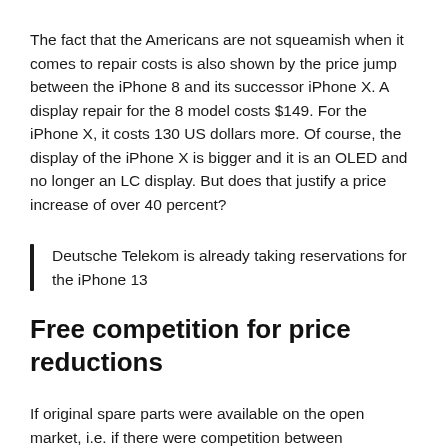The fact that the Americans are not squeamish when it comes to repair costs is also shown by the price jump between the iPhone 8 and its successor iPhone X. A display repair for the 8 model costs $149. For the iPhone X, it costs 130 US dollars more. Of course, the display of the iPhone X is bigger and it is an OLED and no longer an LC display. But does that justify a price increase of over 40 percent?
Deutsche Telekom is already taking reservations for the iPhone 13
Free competition for price reductions
If original spare parts were available on the open market, i.e. if there were competition between workshops, prices would also fall. Apple, on the other hand, is opposed to this. The argument is that they want to ensure that the repairs meet the company's quality